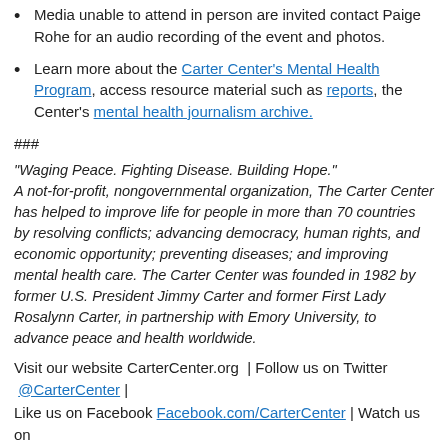Media unable to attend in person are invited contact Paige Rohe for an audio recording of the event and photos.
Learn more about the Carter Center's Mental Health Program, access resource material such as reports, the Center's mental health journalism archive.
###
“Waging Peace. Fighting Disease. Building Hope.” A not-for-profit, nongovernmental organization, The Carter Center has helped to improve life for people in more than 70 countries by resolving conflicts; advancing democracy, human rights, and economic opportunity; preventing diseases; and improving mental health care. The Carter Center was founded in 1982 by former U.S. President Jimmy Carter and former First Lady Rosalynn Carter, in partnership with Emory University, to advance peace and health worldwide.
Visit our website CarterCenter.org  | Follow us on Twitter  @CarterCenter |
Like us on Facebook Facebook.com/CarterCenter | Watch us on